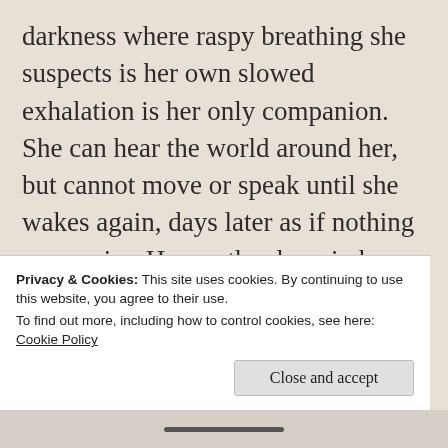darkness where raspy breathing she suspects is her own slowed exhalation is her only companion. She can hear the world around her, but cannot move or speak until she wakes again, days later as if nothing was amiss. Her mother long in her grave, and her best friend newly departed leaves her gold-digging husband as the only person in her life that knows her secret, and when she falls into yet another trip to her inner prison, the opportunity is too much for him to resist. An
Privacy & Cookies: This site uses cookies. By continuing to use this website, you agree to their use.
To find out more, including how to control cookies, see here:
Cookie Policy